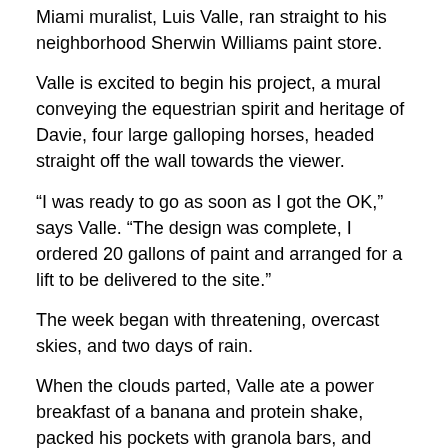Miami muralist, Luis Valle, ran straight to his neighborhood Sherwin Williams paint store.
Valle is excited to begin his project, a mural conveying the equestrian spirit and heritage of Davie, four large galloping horses, headed straight off the wall towards the viewer.
“I was ready to go as soon as I got the OK,” says Valle. “The design was complete, I ordered 20 gallons of paint and arranged for a lift to be delivered to the site.”
The week began with threatening, overcast skies, and two days of rain.
When the clouds parted, Valle ate a power breakfast of a banana and protein shake, packed his pockets with granola bars, and headed up I-95 to begin the project.